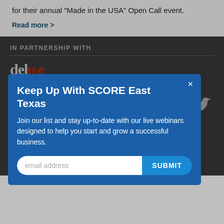for their annual "Made in the USA" Open Call event.
Read more >
IN PARTNERSHIP WITH
[Figure (logo): Deluxe logo in grey with red accent dots]
[Figure (infographic): Modal popup: Keep Up With SCORE East Texas. Join our list and stay up-to-date with our live webinars designed to help you start and grow a successful business. Email address input and SUBMIT button.]
[Figure (logo): Facebook icon (f) and Twitter bird icon in grey on dark background]
Thank you for visiting SCORE East Texas